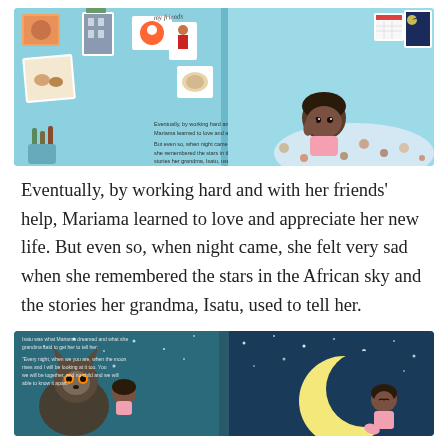[Figure (illustration): Children's book illustration showing a bedroom wall covered with colorful drawings and artwork pinned up, and a young dark-skinned girl lying in bed under a patterned blanket. The background is teal/light blue. Small text on the illustration reads the same story passage.]
Eventually, by working hard and with her friends' help, Mariama learned to love and appreciate her new life. But even so, when night came, she felt very sad when she remembered the stars in the African sky and the stories her grandma, Isatu, used to tell her.
[Figure (illustration): Children's book illustration showing a dark night sky scene with a crescent moon. A young girl in pink sits on the moon. On the left side, a creature (cat or raccoon-like) is visible. The background is deep teal/dark blue. Small text appears on the left page of the spread.]